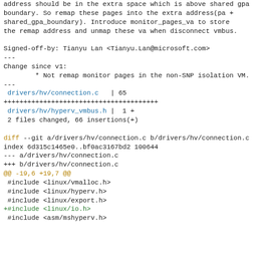address should be in the extra space which is above shared gpa
boundary. So remap these pages into the extra address(pa +
shared_gpa_boundary). Introduce monitor_pages_va to store
the remap address and unmap these va when disconnect vmbus.

Signed-off-by: Tianyu Lan <Tianyu.Lan@microsoft.com>
---
Change since v1:
        * Not remap monitor pages in the non-SNP isolation VM.
---
 drivers/hv/connection.c   | 65
++++++++++++++++++++++++++++++++++++++
 drivers/hv/hyperv_vmbus.h |  1 +
 2 files changed, 66 insertions(+)

diff --git a/drivers/hv/connection.c b/drivers/hv/connection.c
index 6d315c1465e0..bf0ac3167bd2 100644
--- a/drivers/hv/connection.c
+++ b/drivers/hv/connection.c
@@ -19,6 +19,7 @@
 #include <linux/vmalloc.h>
 #include <linux/hyperv.h>
 #include <linux/export.h>
+#include <linux/io.h>
 #include <asm/mshyperv.h>